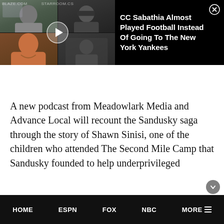[Figure (screenshot): Video ad banner showing a video thumbnail on the left with people in a video call grid layout and a play button overlay, alongside the text 'CC Sabathia Almost Played Football Instead Of Going To The New York Yankees' on a black background with a close (X) button]
A new podcast from Meadowlark Media and Advance Local will recount the Sandusky saga through the story of Shawn Sinisi, one of the children who attended The Second Mile Camp that Sandusky founded to help underprivileged
HOME   ESPN   FOX   NBC   MORE